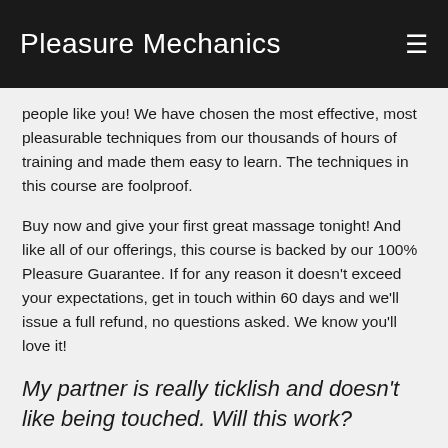Pleasure Mechanics
people like you! We have chosen the most effective, most pleasurable techniques from our thousands of hours of training and made them easy to learn. The techniques in this course are foolproof.
Buy now and give your first great massage tonight! And like all of our offerings, this course is backed by our 100% Pleasure Guarantee. If for any reason it doesn't exceed your expectations, get in touch within 60 days and we'll issue a full refund, no questions asked. We know you'll love it!
My partner is really ticklish and doesn't like being touched. Will this work?
Many people are ticklish when they are touched with amateur, hesitant touch. We show you how to touch with